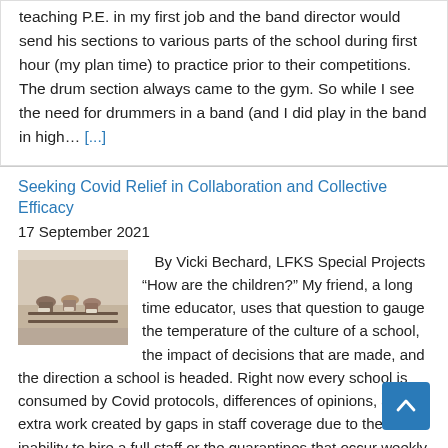teaching P.E. in my first job and the band director would send his sections to various parts of the school during first hour (my plan time) to practice prior to their competitions.  The drum section always came to the gym.  So while I see the need for drummers in a band (and I did play in the band in high… [...]
Seeking Covid Relief in Collaboration and Collective Efficacy
17 September 2021
[Figure (photo): Classroom photo showing students sitting and working, viewed from the side.]
By Vicki Bechard, LFKS Special Projects “How are the children?”  My friend, a long time educator, uses that question to gauge the temperature of the culture of a school, the impact of decisions that are made, and the direction a school is headed. Right now every school is consumed by Covid protocols, differences of opinions, and extra work created by gaps in staff coverage due to the inability to hire a full staff or the quarantines that occur weekly (or even daily).  Learning is going on, school improvement through accreditation is continuing, but our focus seems to be